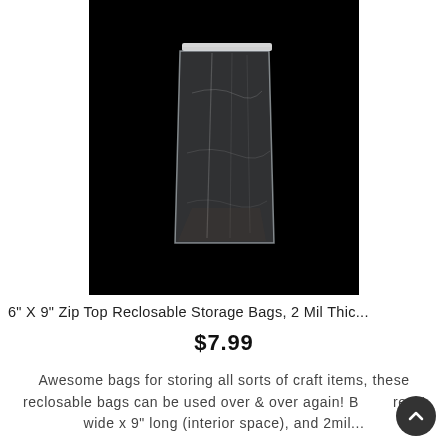[Figure (photo): A clear reclosable zip-top plastic bag photographed against a black background. The bag is transparent with a white zip seal strip at the top and slight wrinkles/texture visible on the plastic surface.]
6" X 9" Zip Top Reclosable Storage Bags, 2 Mil Thic...
$7.99
Awesome bags for storing all sorts of craft items, these reclosable bags can be used over & over again! B...re 6" wide x 9" long (interior space), and 2mil...